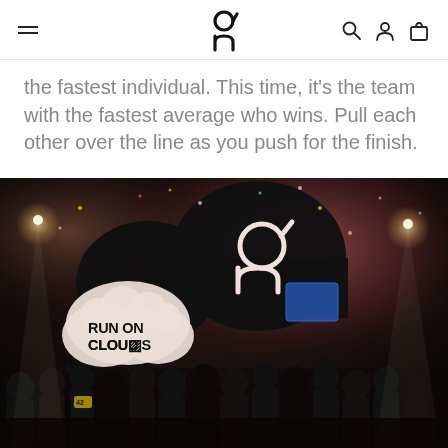On Running website header with logo and navigation icons
the fastest individual. This time, it's the team with the fastest average who wins. Pull each other over the line as you push for the finish.
[Figure (photo): A large crowd of runners and spectators celebrating at a finish line event, with a large black inflatable On Running logo arch and a white cloud-shaped balloon sign reading 'RUN ON CLOUDS'. Pink and red smoke fills the air and confetti is visible. Bright stadium lights in background.]